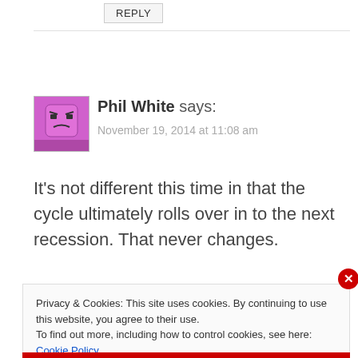REPLY
[Figure (illustration): Pink/magenta square avatar with an angry face emoji pixel art]
Phil White says:
November 19, 2014 at 11:08 am
It’s not different this time in that the cycle ultimately rolls over in to the next recession. That never changes.
Privacy & Cookies: This site uses cookies. By continuing to use this website, you agree to their use.
To find out more, including how to control cookies, see here: Cookie Policy